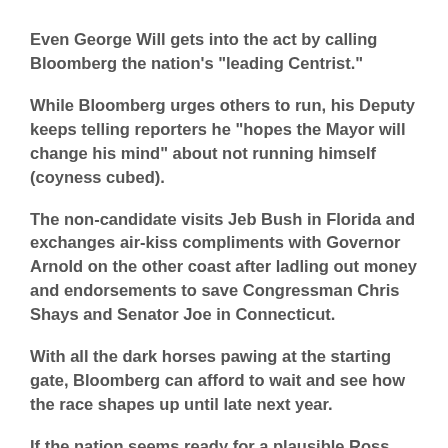Even George Will gets into the act by calling Bloomberg the nation's “leading Centrist.”
While Bloomberg urges others to run, his Deputy keeps telling reporters he “hopes the Mayor will change his mind” about not running himself (coyness cubed).
The non-candidate visits Jeb Bush in Florida and exchanges air-kiss compliments with Governor Arnold on the other coast after ladling out money and endorsements to save Congressman Chris Shays and Senator Joe in Connecticut.
With all the dark horses pawing at the starting gate, Bloomberg can afford to wait and see how the race shapes up until late next year.
If the nation seems ready for a plausible Ross Perot, Bloomberg’s fund-raising will consist of one phone call-- to his personal bankers.